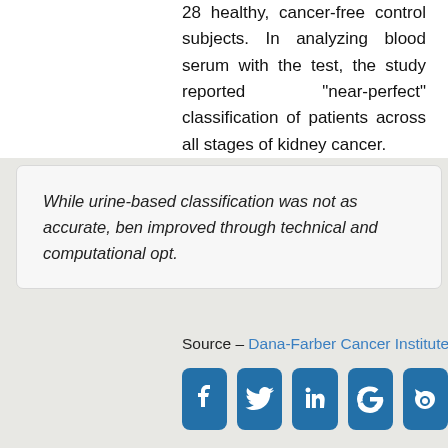28 healthy, cancer-free control subjects. In analyzing blood serum with the test, the study reported "near-perfect" classification of patients across all stages of kidney cancer.
While urine-based classification was not as accurate, ben improved through technical and computational opt.
Source – Dana-Farber Cancer Institute
Nuzzo PV, Berchuck JE, Korthauer K et al. (2020) Detection of renal cell carcinoma using plasma and urine cell-free DNA methylomes. Nat Med [online ahead of print]. [article]
[Figure (infographic): Row of five social media share buttons: Facebook, Twitter, LinkedIn, Google, and a share/camera icon, all in blue rounded square icons]